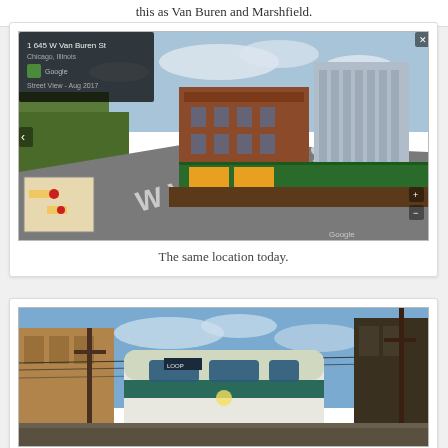this as Van Buren and Marshfield.
[Figure (photo): Google Street View screenshot showing a brick building at Van Buren and Marshfield in Chicago, Illinois. A road curves to the left with construction fencing on the right side. A small inset map appears in the lower left corner.]
The same location today.
[Figure (photo): Photograph of a CTA elevated train car (green and white) at a station platform, with buildings visible on either side and blue sky above.]